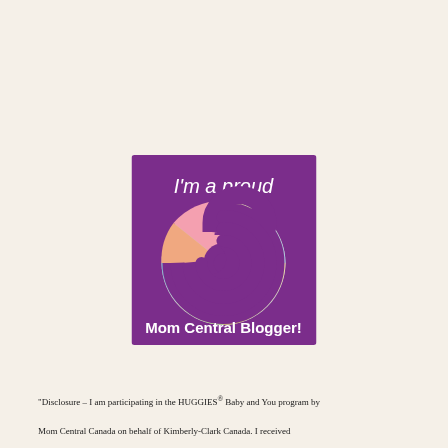[Figure (logo): Mom Central Blogger badge: purple square with white handwritten text 'I'm a proud' at top, a spiral/swirl shape made of family photo collage images, and white bold text 'Mom Central Blogger!' at the bottom.]
"Disclosure – I am participating in the HUGGIES® Baby and You program by Mom Central Canada on behalf of Kimberly-Clark Canada. I received